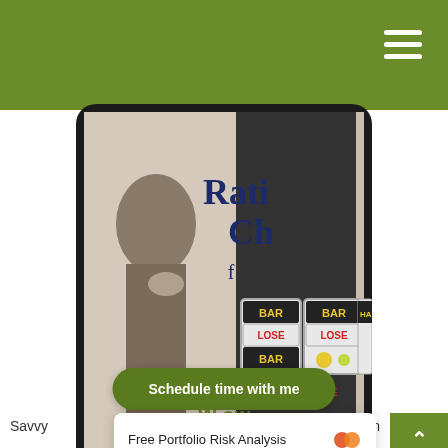[Figure (screenshot): Green navigation header bar with hamburger menu icon (three white horizontal lines) in top right corner]
[Figure (screenshot): Video player showing a tablet device with a split image: left side shows a black-and-white illustration of a person thinking, with text 'Rati Ch f', right side shows a slot machine with 'BAR', 'LOSE', 'LOSE', 'BAR', 'HA' labels and fruit symbols. Video controls bar at bottom shows pause, play, plus icons, a progress bar, and timestamp '0:58']
Schedule time with me
W...ow
Savvy ... motion
Free Portfolio Risk Analysis
from you.